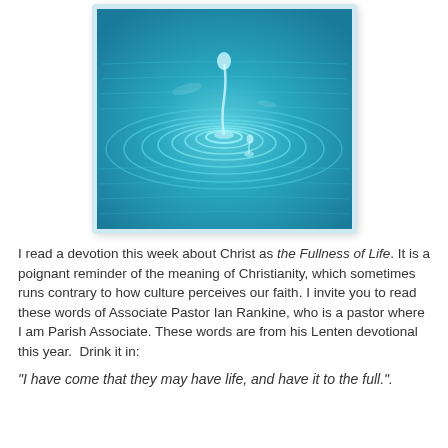[Figure (photo): A close-up photograph of a water drop creating circular ripples on a blue water surface, with the water droplet splash visible in the center.]
I read a devotion this week about Christ as the Fullness of Life. It is a poignant reminder of the meaning of Christianity, which sometimes runs contrary to how culture perceives our faith. I invite you to read these words of Associate Pastor Ian Rankine, who is a pastor where I am Parish Associate. These words are from his Lenten devotional this year.  Drink it in:
"I have come that they may have life, and have it to the full.".